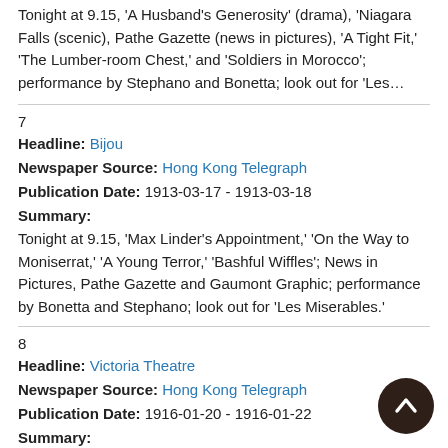Tonight at 9.15, 'A Husband's Generosity' (drama), 'Niagara Falls (scenic), Pathe Gazette (news in pictures), 'A Tight Fit,' 'The Lumber-room Chest,' and 'Soldiers in Morocco'; performance by Stephano and Bonetta; look out for 'Les…
7
Headline: Bijou
Newspaper Source: Hong Kong Telegraph
Publication Date: 1913-03-17 - 1913-03-18
Summary:
Tonight at 9.15, 'Max Linder's Appointment,' 'On the Way to Moniserrat,' 'A Young Terror,' 'Bashful Wiffles'; News in Pictures, Pathe Gazette and Gaumont Graphic; performance by Bonetta and Stephano; look out for 'Les Miserables.'
8
Headline: Victoria Theatre
Newspaper Source: Hong Kong Telegraph
Publication Date: 1916-01-20 - 1916-01-22
Summary:
Tonight! The great Pathe masterpiece in 5 parts, featuring the